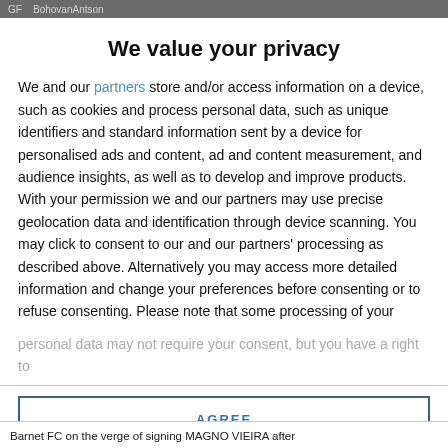GF  BohovanAntson
We value your privacy
We and our partners store and/or access information on a device, such as cookies and process personal data, such as unique identifiers and standard information sent by a device for personalised ads and content, ad and content measurement, and audience insights, as well as to develop and improve products. With your permission we and our partners may use precise geolocation data and identification through device scanning. You may click to consent to our and our partners' processing as described above. Alternatively you may access more detailed information and change your preferences before consenting or to refuse consenting. Please note that some processing of your personal data may not require your consent, but you have a right to
AGREE
MORE OPTIONS
Barnet FC on the verge of signing MAGNO VIEIRA after